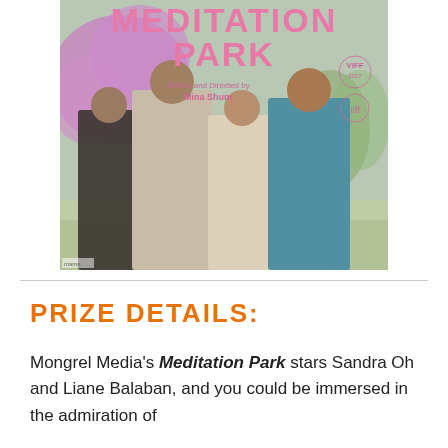[Figure (photo): Movie poster for Meditation Park. Title in large pink letters at top. Subtitle: Written and Directed by Mina Shum. Festival badges for VIFF 2017 and tiff in upper right. Four people (elderly women) walking in a park with blooming cherry blossom trees.]
PRIZE DETAILS:
Mongrel Media's Meditation Park stars Sandra Oh and Liane Balaban, and you could be immersed in the admiration of...